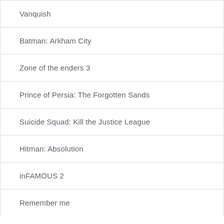Vanquish
Batman: Arkham City
Zone of the enders 3
Prince of Persia: The Forgotten Sands
Suicide Squad: Kill the Justice League
Hitman: Absolution
inFAMOUS 2
Remember me